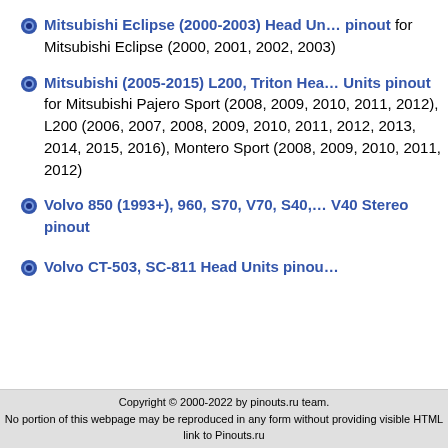Mitsubishi Eclipse (2000-2003) Head Unit pinout for Mitsubishi Eclipse (2000, 2001, 2002, 2003)
Mitsubishi (2005-2015) L200, Triton Head Units pinout for Mitsubishi Pajero Sport (2008, 2009, 2010, 2011, 2012), L200 (2006, 2007, 2008, 2009, 2010, 2011, 2012, 2013, 2014, 2015, 2016), Montero Sport (2008, 2009, 2010, 2011, 2012)
Volvo 850 (1993+), 960, S70, V70, S40, V40 Stereo pinout
Volvo CT-503, SC-811 Head Units pinout
Copyright © 2000-2022 by pinouts.ru team.
No portion of this webpage may be reproduced in any form without providing visible HTML link to Pinouts.ru